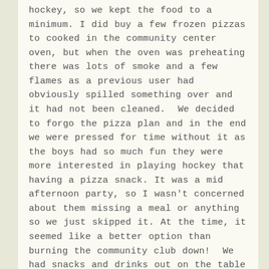hockey, so we kept the food to a minimum. I did buy a few frozen pizzas to cooked in the community center oven, but when the oven was preheating there was lots of smoke and a few flames as a previous user had obviously spilled something over and it had not been cleaned.  We decided to forgo the pizza plan and in the end we were pressed for time without it as the boys had so much fun they were more interested in playing hockey that having a pizza snack. It was a mid afternoon party, so I wasn't concerned about them missing a meal or anything so we just skipped it. At the time, it seemed like a better option than burning the community club down!  We had snacks and drinks out on the table throughout, so the boys could munch throughout the party and stay hydrated.  We served the cake and ice cream near the end, before opening presents.  We used plain navy blue cups for the pop, but I had